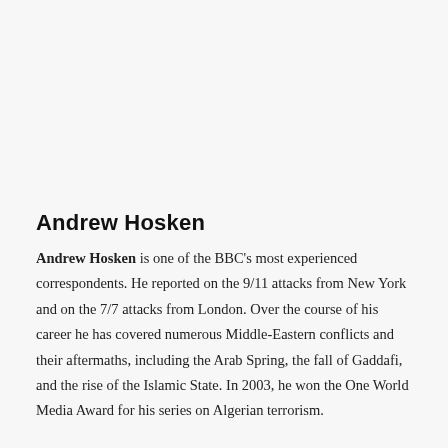Andrew Hosken
Andrew Hosken is one of the BBC's most experienced correspondents. He reported on the 9/11 attacks from New York and on the 7/7 attacks from London. Over the course of his career he has covered numerous Middle-Eastern conflicts and their aftermaths, including the Arab Spring, the fall of Gaddafi, and the rise of the Islamic State. In 2003, he won the One World Media Award for his series on Algerian terrorism.